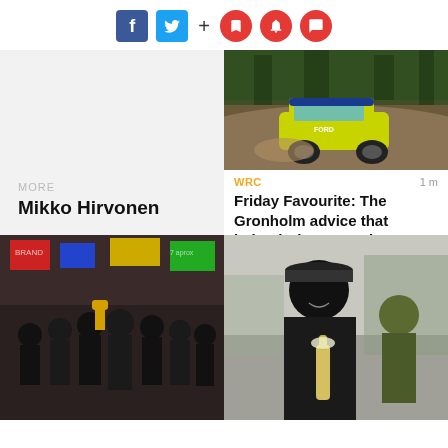[Figure (screenshot): Social media share/follow icons: Facebook (blue), Twitter (blue), plus sign, and three red circular icons (bookmark, bell, comment)]
MORE
Mikko Hirvonen
[Figure (photo): Rally car (Ford Focus WRC, yellow/green livery) racing on a dirt track through forest]
WRC
1 m
Friday Favourite: The Gronholm advice that helped Hirvonen take on Loeb
[Figure (photo): Group of rally team members celebrating, black uniforms, holding trophies and champagne, banners in background]
[Figure (photo): Man in black turtleneck and cap holding champagne bottle, smiling, with another person in background]